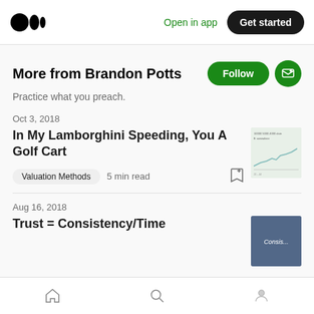Medium logo | Open in app | Get started
More from Brandon Potts
Practice what you preach.
Oct 3, 2018
In My Lamborghini Speeding, You A Golf Cart
Valuation Methods · 5 min read
[Figure (screenshot): Thumbnail of a line chart article image]
Aug 16, 2018
Trust = Consistency/Time
[Figure (photo): Thumbnail photo for Trust article]
Home | Search | Profile